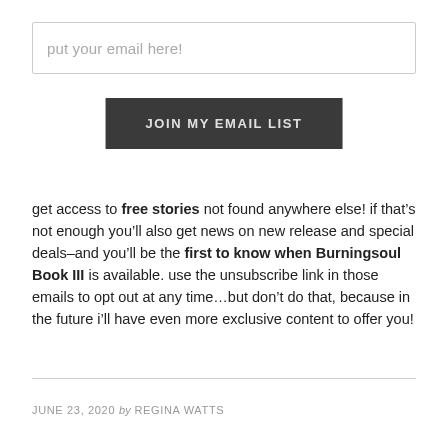put your email here!
JOIN MY EMAIL LIST
get access to free stories not found anywhere else! if that’s not enough you’ll also get news on new release and special deals–and you’ll be the first to know when Burningsoul Book III is available. use the unsubscribe link in those emails to opt out at any time…but don’t do that, because in the future i’ll have even more exclusive content to offer you!
JUNE 23, 2020 by REGINA WATTS